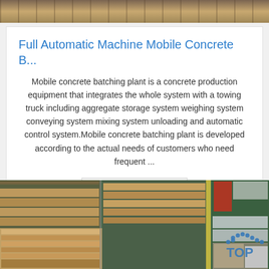[Figure (photo): Top portion of a photo showing construction/industrial equipment scene, partially cropped at top]
Full Automatic Machine Mobile Concrete B...
Mobile concrete batching plant is a concrete production equipment that integrates the whole system with a towing truck including aggregate storage system weighing system conveying system mixing system unloading and automatic control system.Mobile concrete batching plant is developed according to the actual needs of customers who need frequent ...
Get Price
[Figure (photo): Industrial warehouse photo showing stacks of wood/plywood sheets on pallets, with yellow floor markings and a TOP logo watermark in bottom right corner]